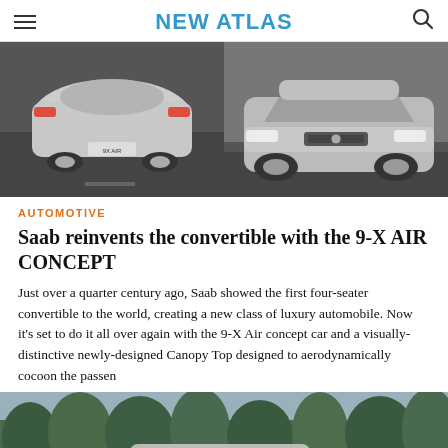NEW ATLAS
[Figure (photo): Two Saab concept cars side by side — left shows rear view of silver sedan, right shows front-angled view of silver SUV/crossover concept, both on dark road background]
AUTOMOTIVE
Saab reinvents the convertible with the 9-X AIR CONCEPT
Just over a quarter century ago, Saab showed the first four-seater convertible to the world, creating a new class of luxury automobile. Now it's set to do it all over again with the 9-X Air concept car and a visually-distinctive newly-designed Canopy Top designed to aerodynamically cocoon the passen
[Figure (photo): Bottom portion of a Saab convertible concept car shown outdoors with trees in the background]